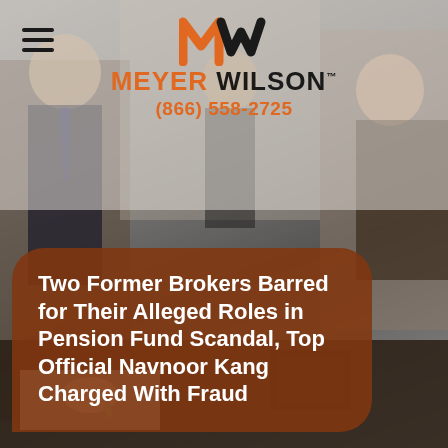[Figure (logo): Meyer Wilson law firm logo with MW mark in orange and black, and phone number (866) 558-2725]
[Figure (photo): Office meeting scene with people at a desk, blurred background]
Two Former Brokers Barred for Their Alleged Roles in Pension Fund Scandal, Top Official Navnoor Kang Charged With Fraud